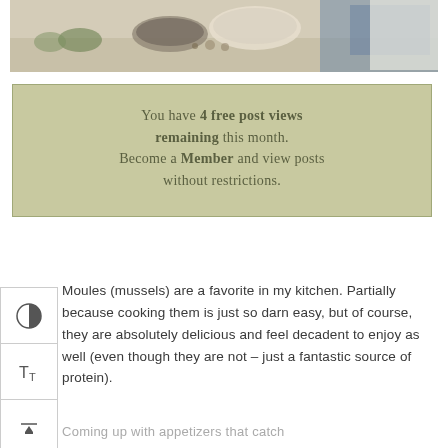[Figure (photo): Kitchen scene with mixing bowls and ingredients on a countertop, blue appliance visible in background]
You have 4 free post views remaining this month. Become a Member and view posts without restrictions.
Moules (mussels) are a favorite in my kitchen. Partially because cooking them is just so darn easy, but of course, they are absolutely delicious and feel decadent to enjoy as well (even though they are not – just a fantastic source of protein).
Coming up with appetizers that catch